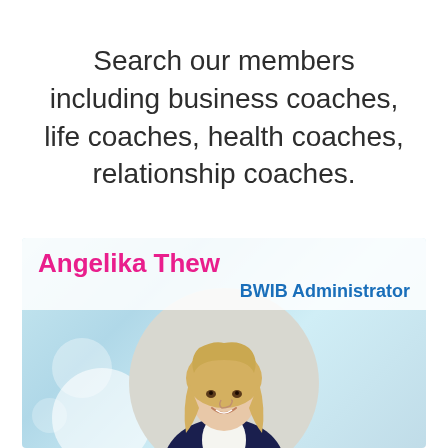Search our members including business coaches, life coaches, health coaches, relationship coaches.
[Figure (photo): Profile card for Angelika Thew, BWIB Administrator. Shows a blonde woman in a dark blazer smiling, with a light blue bokeh background and a white circle frame around her photo.]